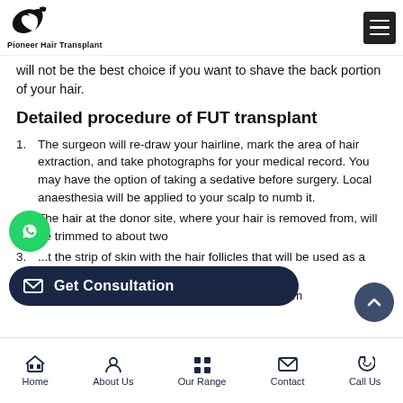Pioneer Hair Transplant
will not be the best choice if you want to shave the back portion of your hair.
Detailed procedure of FUT transplant
1. The surgeon will re-draw your hairline, mark the area of hair extraction, and take photographs for your medical record. You may have the option of taking a sedative before surgery. Local anaesthesia will be applied to your scalp to numb it.
The hair at the donor site, where your hair is removed from, will be trimmed to about two
3. ...t the strip of skin with the hair follicles that will be used as a graft.
4. Then the individual ...llicles are removed from
Home  About Us  Our Range  Contact  Call Us